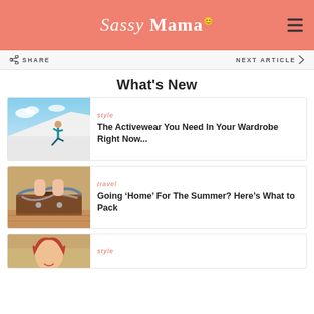Sassy Mama
What's New
[Figure (photo): Woman in blue activewear doing a lunge on a rooftop with sky and clouds background]
style
The Activewear You Need In Your Wardrobe Right Now...
[Figure (photo): Woman sitting on top of a packed brown vintage suitcase with clothes spilling out, on a wooden floor]
travel
Going ‘Home’ For The Summer? Here’s What to Pack
[Figure (photo): Partial view of a woman with red hair smiling outdoors]
style